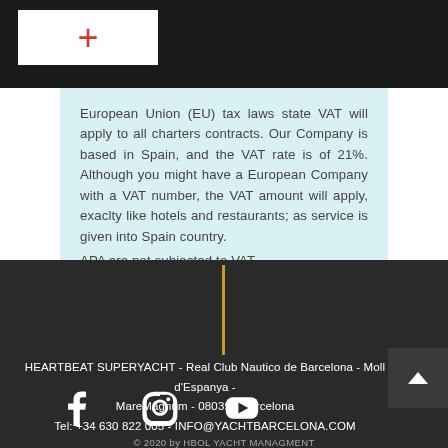[Figure (logo): White box with red plus sign logo on dark background header bar]
European Union (EU) tax laws state VAT will apply to all charters contracts. Our Company is based in Spain, and the VAT rate is of 21%. Although you might have a European Company with a VAT number, the VAT amount will apply, exaclty like hotels and restaurants; as service is given into Spain country.
APA are not subjected to VAT.
HEARTBEAT SUPERYACHT - Real Club Nautico de Barcelona - Moll d'Espanya - MareMagnum - 08039 - Barcelona Tel: +34 630 822 005 - INFO@YACHTBARCELONA.COM
© 2020 by HBOL YACHT MANAGMENT